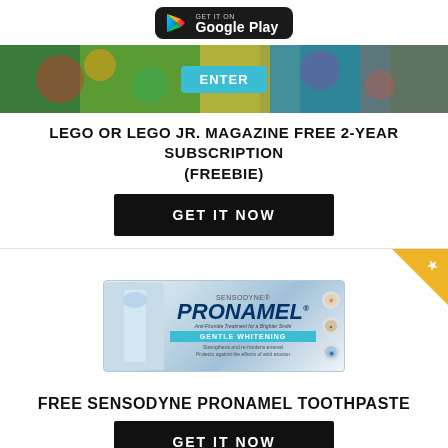[Figure (logo): Google Play store badge button on black rounded rectangle background]
[Figure (photo): Colorful gaming/entertainment banner with ENTER button in teal]
LEGO OR LEGO JR. MAGAZINE FREE 2-YEAR SUBSCRIPTION (FREEBIE)
GET IT NOW
[Figure (photo): Sensodyne Pronamel Gentle Whitening toothpaste box product image]
FREE SENSODYNE PRONAMEL TOOTHPASTE
GET IT NOW